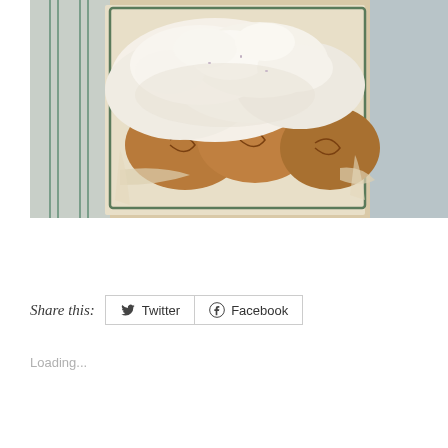[Figure (photo): Overhead close-up photo of cinnamon rolls or buns in a baking pan lined with parchment paper, generously topped with white cream cheese frosting, with a striped kitchen towel visible on the left side]
Share this:
Twitter
Facebook
Loading...